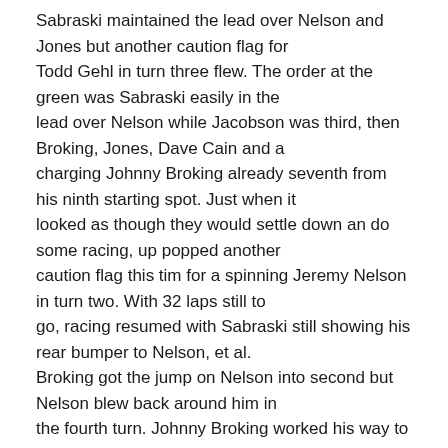Sabraski maintained the lead over Nelson and Jones but another caution flag for Todd Gehl in turn three flew. The order at the green was Sabraski easily in the lead over Nelson while Jacobson was third, then Broking, Jones, Dave Cain and a charging Johnny Broking already seventh from his ninth starting spot. Just when it looked as though they would settle down an do some racing, up popped another caution flag this tim for a spinning Jeremy Nelson in turn two. With 32 laps still to go, racing resumed with Sabraski still showing his rear bumper to Nelson, et al. Broking got the jump on Nelson into second but Nelson blew back around him in the fourth turn. Johnny Broking worked his way to fifth while Ebert had already blew through the pack and was harassing Cain for the seventh spot